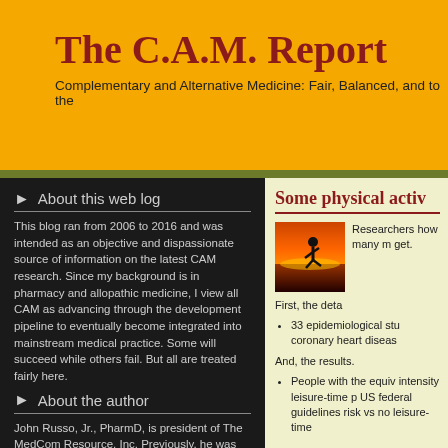The C.A.M. Report
Complementary and Alternative Medicine: Fair, Balanced, and to the
About this web log
This blog ran from 2006 to 2016 and was intended as an objective and dispassionate source of information on the latest CAM research. Since my background is in pharmacy and allopathic medicine, I view all CAM as advancing through the development pipeline to eventually become integrated into mainstream medical practice. Some will succeed while others fail. But all are treated fairly here.
About the author
John Russo, Jr., PharmD, is president of The MedCom Resource, Inc. Previously, he was senior vice president of medical communications at www.Vicus.com, a complementary and alternative medicine website.
Some physical activ
[Figure (photo): Silhouette of a person running against a sunset background with orange and red sky reflecting on water]
Researchers how many m get.
First, the deta
33 epidemiological stu coronary heart diseas
And, the results.
People with the equiv intensity leisure-time p US federal guidelines risk vs no leisure-time